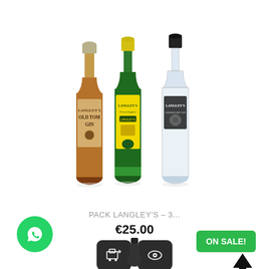[Figure (photo): Three Langley's gin bottles side by side: Old Tom Gin (amber bottle, left), Langley's First Chapter (green bottle, center), and Langley's clear gin (clear bottle, right)]
PACK LANGLEY'S - 3...
€25.00
[Figure (illustration): Two dark rounded square buttons: a cart/add icon and an eye/view icon]
[Figure (illustration): Green WhatsApp circular button at bottom left]
[Figure (illustration): Black upward arrow scroll-to-top button at bottom right area]
ON SALE!
[Figure (photo): Top of a dark bottle appearing at bottom center, partially cropped]